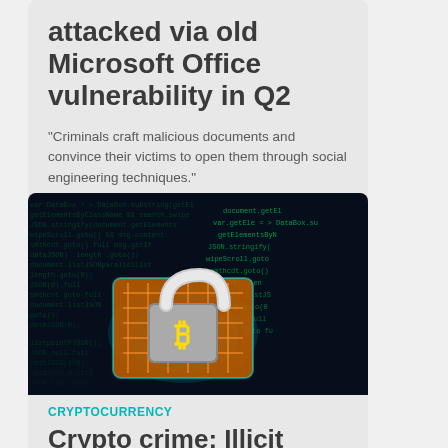attacked via old Microsoft Office vulnerability in Q2
"Criminals craft malicious documents and convince their victims to open them through social engineering techniques."
[Figure (photo): Dark background image of a glowing padlock with a Bitcoin symbol on a circuit board, surrounded by green code text — cybersecurity and cryptocurrency concept]
CRYPTOCURRENCY
Crypto crime: Illicit activity falls with rest of market